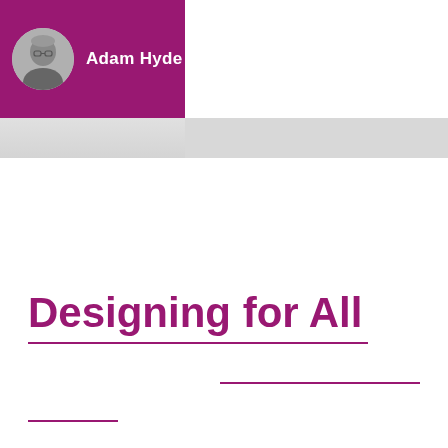[Figure (photo): Circular black and white portrait photo of Adam Hyde]
Adam Hyde
Designing for All